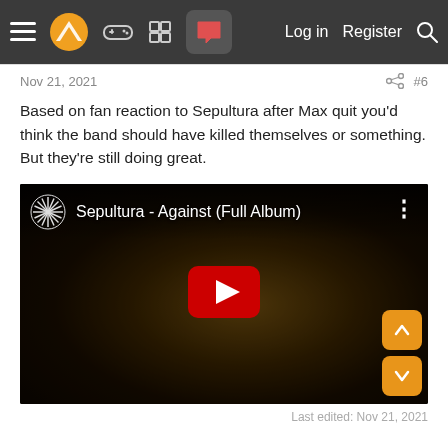Log in  Register
Nov 21, 2021  #6
Based on fan reaction to Sepultura after Max quit you'd think the band should have killed themselves or something. But they're still doing great.
[Figure (screenshot): YouTube video embed showing 'Sepultura - Against (Full Album)' with a dark album art background and a red play button in the center.]
Last edited: Nov 21, 2021